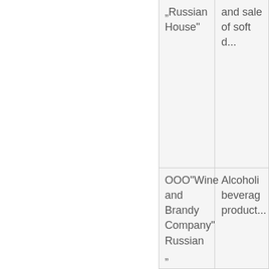|  | „Russian House“ | and sale of soft d... |
|  | OOO"Wine and Brandy Company" Russian „ | Alcoholi beverag product... |